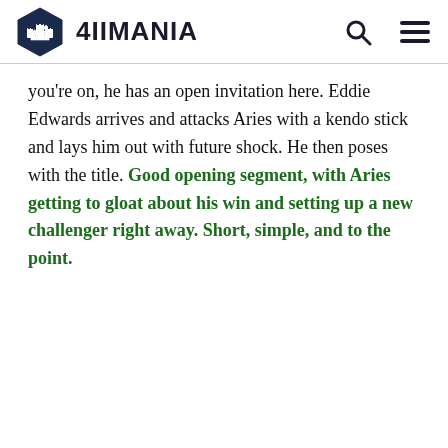4IIMANIA
you're on, he has an open invitation here. Eddie Edwards arrives and attacks Aries with a kendo stick and lays him out with future shock. He then poses with the title. Good opening segment, with Aries getting to gloat about his win and setting up a new challenger right away. Short, simple, and to the point.